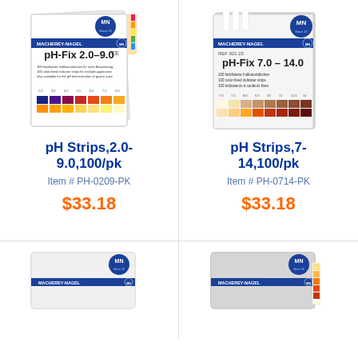[Figure (photo): pH-Fix 2.0-9.0 indicator strips box by Macherey-Nagel, showing color scale from pH 2 to 9]
pH Strips,2.0-9.0,100/pk
Item # PH-0209-PK
$33.18
[Figure (photo): pH-Fix 7.0-14.0 indicator strips box by Macherey-Nagel, showing color scale from pH 7 to 14]
pH Strips,7-14,100/pk
Item # PH-0714-PK
$33.18
[Figure (photo): Partial view of another Macherey-Nagel pH indicator strips product box]
[Figure (photo): Partial view of another Macherey-Nagel pH indicator strips product box]